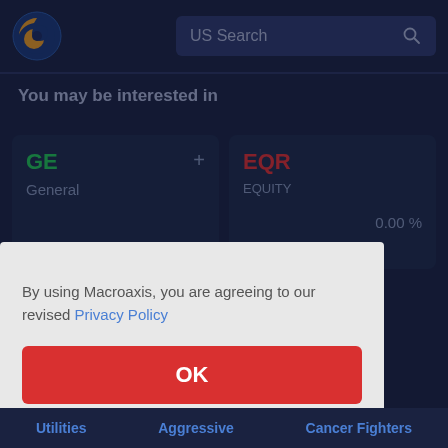[Figure (logo): Macroaxis globe logo — orange and blue circular icon]
US Search
You may be interested in
GE
General
EQR
EQUITY
0.00 %
By using Macroaxis, you are agreeing to our revised Privacy Policy
OK
Utilities   Aggressive   Cancer Fighters